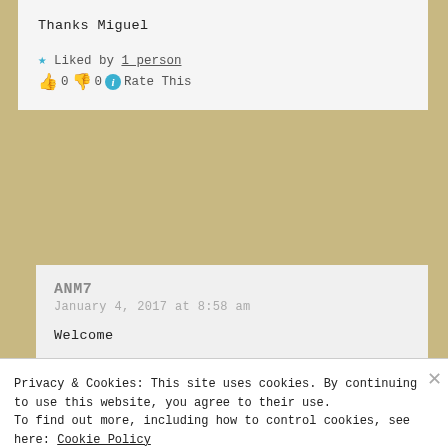Thanks Miguel
★ Liked by 1 person
👍 0 👎 0 ℹ Rate This
ANM7
January 4, 2017 at 8:58 am
Welcome
★ Liked by 1 person
👍 0 👎 0 ℹ Rate This
Privacy & Cookies: This site uses cookies. By continuing to use this website, you agree to their use. To find out more, including how to control cookies, see here: Cookie Policy